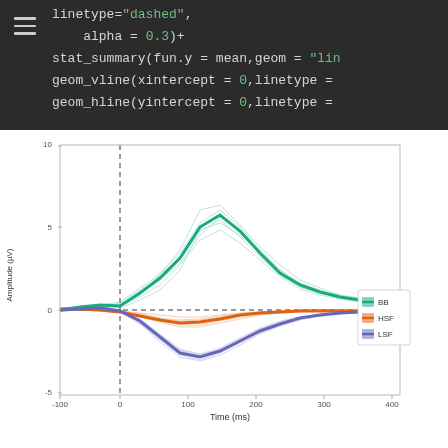[Figure (screenshot): Code block showing R ggplot2 code with dark background. Lines include: linetype="dashed", alpha = 0.3)+, stat_summary(fun.y = mean,geom = "lin, geom_vline(xintercept = 0,linetype =, geom_hline(yintercept = 0,linetype =]
[Figure (continuous-plot): ERP (Event-Related Potential) waveform plot showing Amplitude (µV) on y-axis ranging from approximately -5 to 10, and Time (ms) on x-axis ranging from -100 to 400. Three conditions shown: BB (teal/green bold mean line with individual traces), HSF (orange bold mean line with individual traces), LSF (purple/lavender bold mean line with individual traces). Dashed vertical line at time=0 and dashed horizontal line at amplitude=0. Individual subject traces shown with transparency (alpha=0.3). Legend top-right corner.]